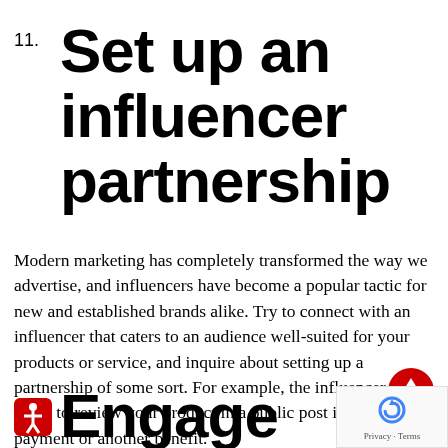11. Set up an influencer partnership
Modern marketing has completely transformed the way we advertise, and influencers have become a popular tactic for new and established brands alike. Try to connect with an influencer that caters to an audience well-suited for your products or service, and inquire about setting up a partnership of some sort. For example, the influencer may agree to review your product in a public post in return for payment or another benefit.
Engage